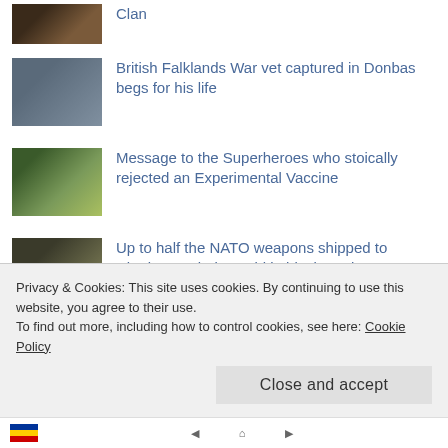Clan
[Figure (photo): Thumbnail photo of a man's face]
British Falklands War vet captured in Donbas begs for his life
[Figure (photo): Thumbnail photo of money/dollars with gloved hands]
Message to the Superheroes who stoically rejected an Experimental Vaccine
[Figure (photo): Thumbnail photo of military/weapons scene]
Up to half the NATO weapons shipped to Ukraine are being sold in black markets
[Figure (photo): Thumbnail photo of political figure at podium with flags]
Colonel Douglas McGregor writes the Ukraine regime's obituary as the media works on saving face
[Figure (photo): Thumbnail photo of Earth from space]
Vaccinated Humans are Legally Patented State-Owned properties no longer subject to Human
Privacy & Cookies: This site uses cookies. By continuing to use this website, you agree to their use.
To find out more, including how to control cookies, see here: Cookie Policy
Close and accept